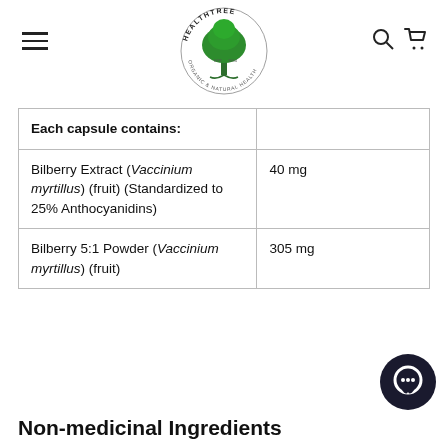[Figure (logo): HealthTree Organic & Natural Health logo — green tree with circular text border]
| Each capsule contains: |  |
| --- | --- |
| Bilberry Extract (Vaccinium myrtillus) (fruit) (Standardized to 25% Anthocyanidins) | 40 mg |
| Bilberry 5:1 Powder (Vaccinium myrtillus) (fruit) | 305 mg |
Non-medicinal Ingredients